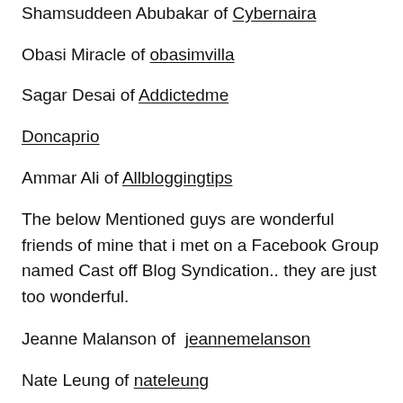Shamsuddeen Abubakar of Cybernaira
Obasi Miracle of obasimvilla
Sagar Desai of Addictedme
Doncaprio
Ammar Ali of Allbloggingtips
The below Mentioned guys are wonderful friends of mine that i met on a Facebook Group named Cast off Blog Syndication.. they are just too wonderful.
Jeanne Malanson of jeannemelanson
Nate Leung of nateleung